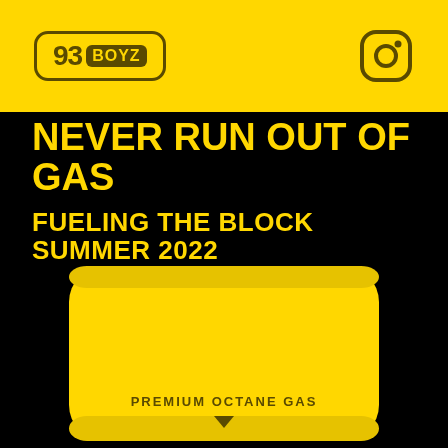93 BOYZ
NEVER RUN OUT OF GAS
FUELING THE BLOCK SUMMER 2022
[Figure (illustration): Yellow resealable mylar bag/pouch product labeled PREMIUM OCTANE GAS with a downward arrow, shown at bottom of page against black background]